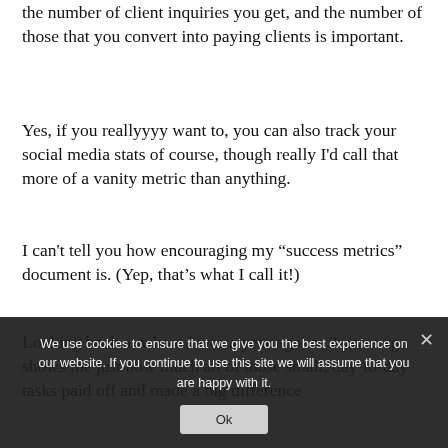the number of client inquiries you get, and the number of those that you convert into paying clients is important.
Yes, if you reallyyyy want to, you can also track your social media stats of course, though really I'd call that more of a vanity metric than anything.
I can't tell you how encouraging my “success metrics” document is. (Yep, that’s what I call it!)
Looking back at where I was a year ago, or 3 years ago shows me just how much all of those small, day-to-day tasks paid off and made a big difference
We use cookies to ensure that we give you the best experience on our website. If you continue to use this site we will assume that you are happy with it.